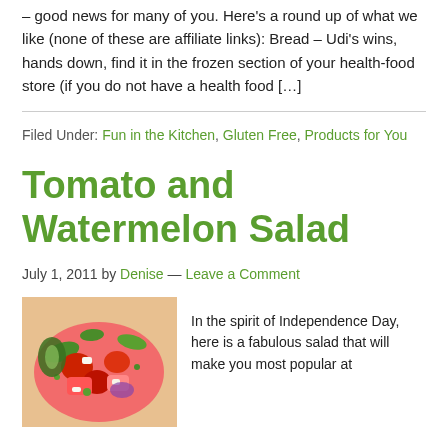– good news for many of you. Here's a round up of what we like (none of these are affiliate links): Bread – Udi's wins, hands down, find it in the frozen section of your health-food store (if you do not have a health food […]
Filed Under: Fun in the Kitchen, Gluten Free, Products for You
Tomato and Watermelon Salad
July 1, 2011 by Denise — Leave a Comment
[Figure (photo): A colorful salad with tomatoes, watermelon, feta cheese, and greens in a bowl]
In the spirit of Independence Day, here is a fabulous salad that will make you most popular at